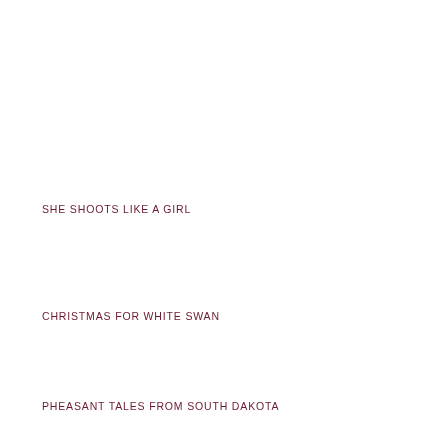SHE SHOOTS LIKE A GIRL
CHRISTMAS FOR WHITE SWAN
PHEASANT TALES FROM SOUTH DAKOTA